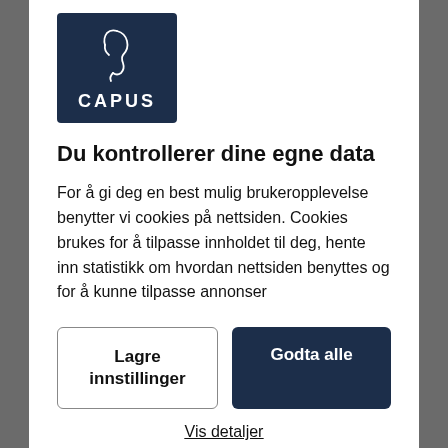[Figure (logo): Capus logo: dark navy blue square with white line art of a face profile and text CAPUS in white bold letters]
Du kontrollerer dine egne data
For å gi deg en best mulig brukeropplevelse benytter vi cookies på nettsiden. Cookies brukes for å tilpasse innholdet til deg, hente inn statistikk om hvordan nettsiden benyttes og for å kunne tilpasse annonser
Lagre innstillinger
Godta alle
Vis detaljer